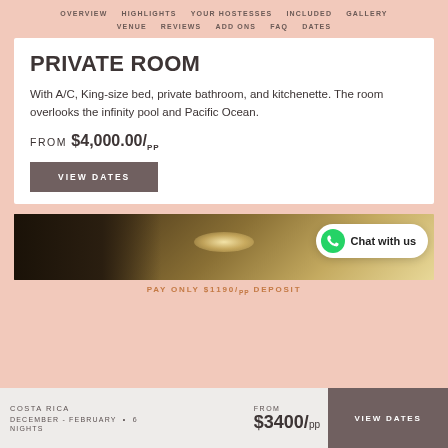OVERVIEW  HIGHLIGHTS  YOUR HOSTESSES  INCLUDED  GALLERY  VENUE  REVIEWS  ADD ONS  FAQ  DATES
PRIVATE ROOM
With A/C, King-size bed, private bathroom, and kitchenette. The room overlooks the infinity pool and Pacific Ocean.
FROM $4,000.00/PP
VIEW DATES
[Figure (photo): Interior room photo showing ceiling lights and walls]
Chat with us
PAY ONLY $1190/PP DEPOSIT
COSTA RICA  DECEMBER - FEBRUARY  •  6 NIGHTS  FROM $3400/pp  VIEW DATES